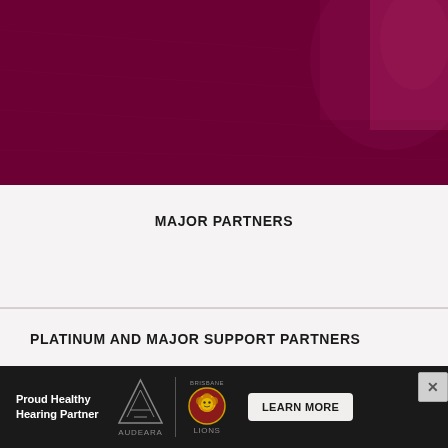[Figure (photo): Dark maroon/burgundy textured background image, sports-related (Brisbane Lions AFL), with a partial view of what appears to be a football player or jersey in the upper right corner.]
MAJOR PARTNERS
PLATINUM AND MAJOR SUPPORT PARTNERS
[Figure (infographic): Advertisement banner for Audeara and Brisbane Lions. Shows 'Proud Healthy Hearing Partner' text, Audeara logo (triangle shape), Brisbane Lions logo (lion head), and 'LEARN MORE' button. Dark background.]